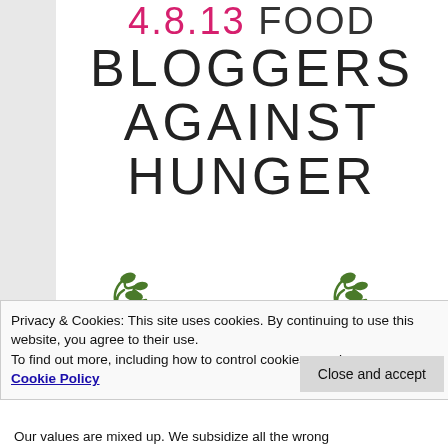4.8.13 FOOD BLOGGERS AGAINST HUNGER
[Figure (illustration): Green decorative scribble/plant illustrations at the bottom of the title block]
Privacy & Cookies: This site uses cookies. By continuing to use this website, you agree to their use.
To find out more, including how to control cookies, see here:
Cookie Policy
Close and accept
Our values are mixed up. We subsidize all the wrong